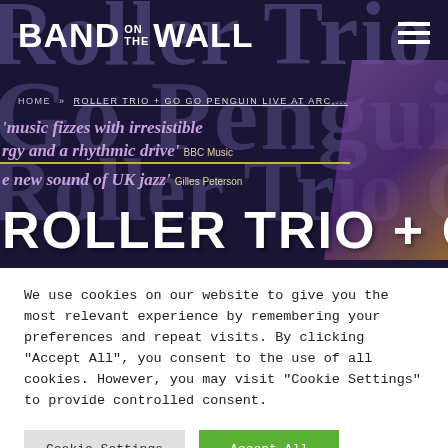[Figure (screenshot): Band on the Wall website hero banner showing logo, navigation hamburger menu, breadcrumb navigation, promotional quotes about Roller Trio + Go Go Penguin, and large band name text overlay on dark purple background]
We use cookies on our website to give you the most relevant experience by remembering your preferences and repeat visits. By clicking "Accept All", you consent to the use of all cookies. However, you may visit "Cookie Settings" to provide controlled consent.
Cookie Settings  |  Accept All